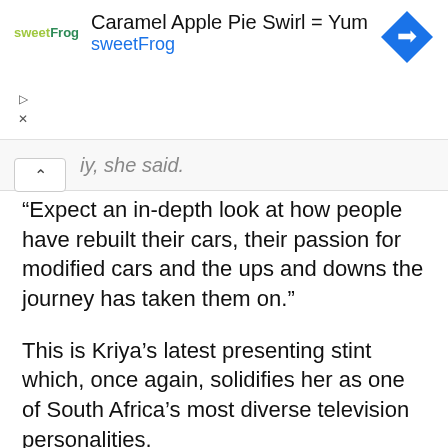[Figure (infographic): Advertisement banner for sweetFrog frozen yogurt featuring 'Caramel Apple Pie Swirl = Yum' headline with sweetFrog logo and blue diamond navigation icon]
...iy, she said.
“Expect an in-depth look at how people have rebuilt their cars, their passion for modified cars and the ups and downs the journey has taken them on.”
This is Kriya’s latest presenting stint which, once again, solidifies her as one of South Africa’s most diverse television personalities.
Kriya started her television presenting career on the youth entertainment block Craz-E before celebrating her Indian heritage on the popular magazine show Mela. When not in front of a camera or behind a